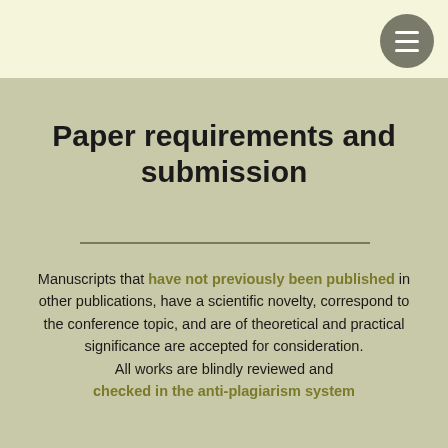[Figure (other): Hamburger menu button circle in the top-right corner]
Paper requirements and submission
Manuscripts that have not previously been published in other publications, have a scientific novelty, correspond to the conference topic, and are of theoretical and practical significance are accepted for consideration. All works are blindly reviewed and checked in the anti-plagiarism system